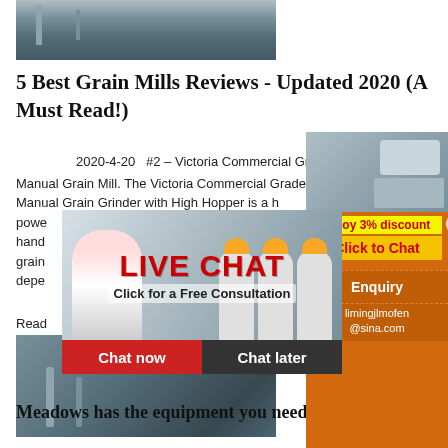[Figure (photo): Industrial/factory scene photo at top]
5 Best Grain Mills Reviews - Updated 2020 (A Must Read!)
2020-4-20   #2 – Victoria Commercial Grade Manual Grain Mill. The Victoria Commercial Grade Manual Grain Grinder with High Hopper is a hand powered grain mill that depends...
Read
[Figure (photo): Industrial machinery/pipes photo]
[Figure (infographic): Live Chat overlay with woman and construction workers. Text: LIVE CHAT, Click for a Free Consultation. Buttons: Chat now, Chat later]
[Figure (infographic): Orange sidebar ad with machinery images. Text: Enjoy 3% discount, Click to Chat, Enquiry, limingjlmofen@sina.com]
Meadows has the equipment you need to